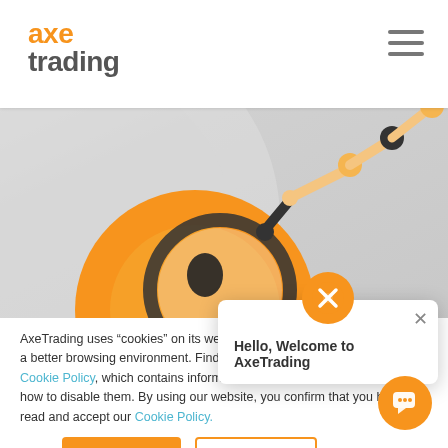[Figure (logo): AxeTrading logo with orange 'axe' text and gray 'trading' text]
[Figure (illustration): Cartoon robot/character with magnifying glass and an upward trending line chart arm, on gray background]
AxeTrading uses “cookies” on its website in order to provide visitors with a better browsing environment. Find out more information by reading our Cookie Policy, which contains information about the cookies we use and how to disable them. By using our website, you confirm that you have read and accept our Cookie Policy.
[Figure (illustration): Chat popup overlay with AxeTrading circular logo icon and text 'Hello, Welcome to AxeTrading' with close X button]
[Figure (other): Accept button (orange filled) and Decline button (orange outlined) for cookie consent]
[Figure (other): Orange chat support button at bottom right corner]